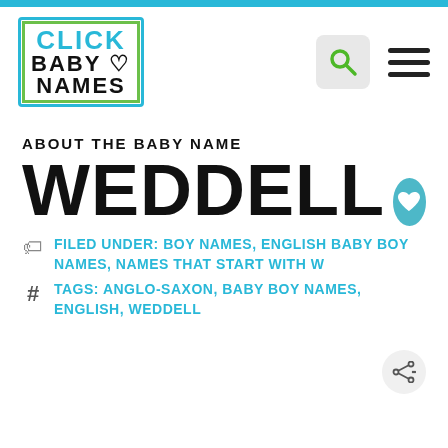[Figure (logo): Click Baby Names logo — square box with cyan border and green outline, text CLICK in cyan, BABY with heart in black, NAMES in black]
ABOUT THE BABY NAME
WEDDELL
FILED UNDER: BOY NAMES, ENGLISH BABY BOY NAMES, NAMES THAT START WITH W
TAGS: ANGLO-SAXON, BABY BOY NAMES, ENGLISH, WEDDELL